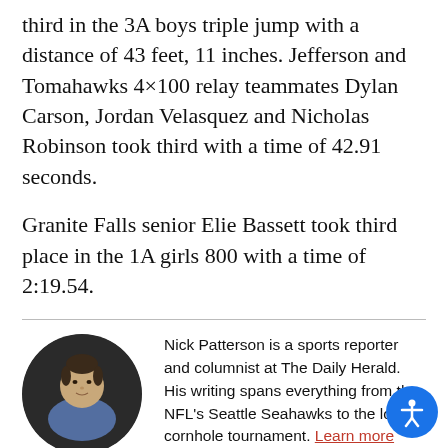third in the 3A boys triple jump with a distance of 43 feet, 11 inches. Jefferson and Tomahawks 4×100 relay teammates Dylan Carson, Jordan Velasquez and Nicholas Robinson took third with a time of 42.91 seconds.

Granite Falls senior Elie Bassett took third place in the 1A girls 800 with a time of 2:19.54.
[Figure (photo): Circular headshot photo of Nick Patterson, a young man with dark hair wearing a blue shirt, against a dark background.]
Nick Patterson is a sports reporter and columnist at The Daily Herald. His writing spans everything from the NFL's Seattle Seahawks to the local cornhole tournament. Learn more about Nick.
[Figure (photo): Circular headshot photo of Zac Hereth, a young man with blonde hair, partially visible at the bottom of the page.]
Zac Hereth is a sports reporter at Daily Herald, focusing on high school